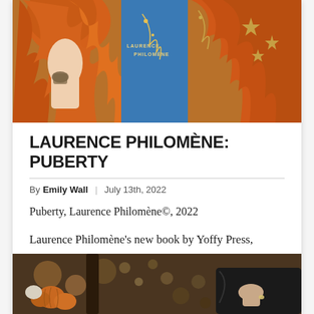[Figure (photo): Book cover or artwork showing a figure with vibrant orange/red hair and decorative elements including stars and ornamental patterns, with text 'LAURENCE PHILOMÈNE' on the cover.]
LAURENCE PHILOMÈNE: PUBERTY
By Emily Wall | July 13th, 2022
Puberty, Laurence Philomène©, 2022
Laurence Philomène's new book by Yoffy Press, Puberty, is an ongoing colorful autobiographical self-portrait project that looks at the intimate
[Figure (photo): Photograph showing autumn scene with pumpkins, foliage, and a figure in dark clothing.]